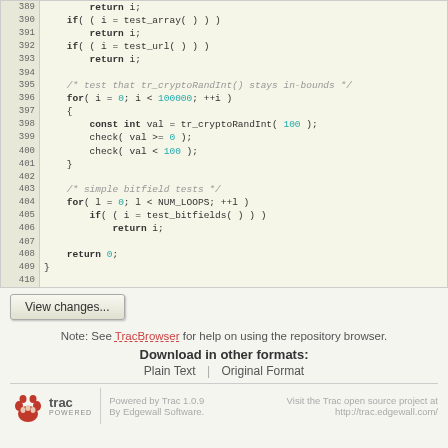[Figure (screenshot): Code viewer showing lines 389–410 of a C source file with line numbers on left, code on right. Syntax highlighted with bold keywords (return, if, for, const, int) and cyan numeric literals.]
View changes...
Note: See TracBrowser for help on using the repository browser.
Download in other formats:
Plain Text | Original Format
Powered by Trac 1.0.9 By Edgewall Software. Visit the Trac open source project at http://trac.edgewall.com/